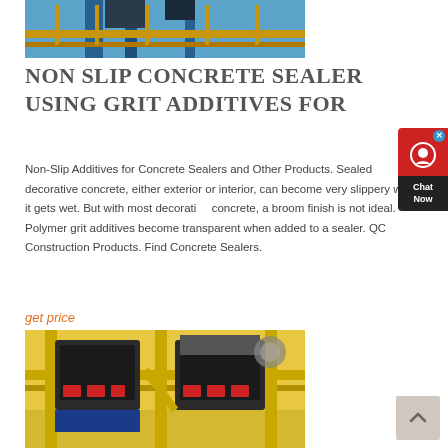[Figure (photo): Industrial equipment with blue metal structure and yellow walkway/railings - top image]
NON SLIP CONCRETE SEALER USING GRIT ADDITIVES FOR
Non-Slip Additives for Concrete Sealers and Other Products. Sealed decorative concrete, either exterior or interior, can become very slippery when it gets wet. But with most decorative concrete, a broom finish is not ideal. Polymer grit additives become transparent when added to a sealer. QC Construction Products. Find Concrete Sealers.
get price
[Figure (photo): Industrial yellow machinery/equipment with black motors and red components on a platform - bottom image]